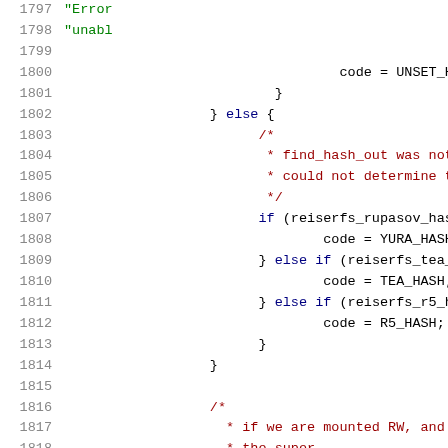[Figure (screenshot): Source code listing showing C code lines 1797-1818 with syntax highlighting. Line numbers in gray on left, keywords in blue, strings in green, comments in dark red/maroon.]